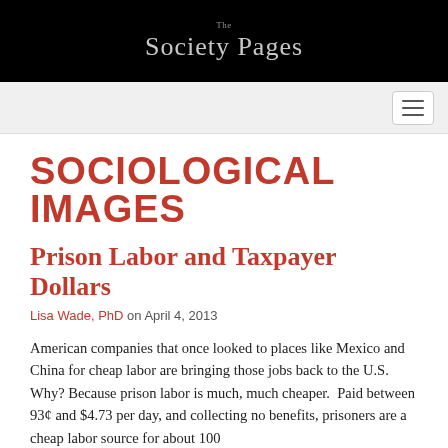The Society Pages
[Figure (logo): Navigation hamburger menu button]
SOCIOLOGICAL IMAGES
Prison Labor and Taxpayer Dollars
Lisa Wade, PhD on April 4, 2013
American companies that once looked to places like Mexico and China for cheap labor are bringing those jobs back to the U.S.  Why? Because prison labor is much, much cheaper.  Paid between 93¢ and $4.73 per day, and collecting no benefits, prisoners are a cheap labor source for about 100